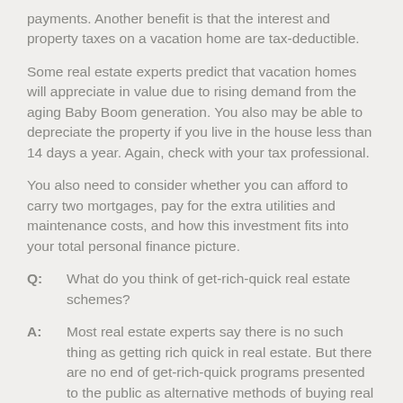payments. Another benefit is that the interest and property taxes on a vacation home are tax-deductible.
Some real estate experts predict that vacation homes will appreciate in value due to rising demand from the aging Baby Boom generation. You also may be able to depreciate the property if you live in the house less than 14 days a year. Again, check with your tax professional.
You also need to consider whether you can afford to carry two mortgages, pay for the extra utilities and maintenance costs, and how this investment fits into your total personal finance picture.
Q: What do you think of get-rich-quick real estate schemes?
A: Most real estate experts say there is no such thing as getting rich quick in real estate. But there are no end of get-rich-quick programs presented to the public as alternative methods of buying real estate.
Some are reputable while others depend on your financial circumstances to work. A handful are simply scams.
Many get-rich-on-real-estate programs offer advice on how to buy